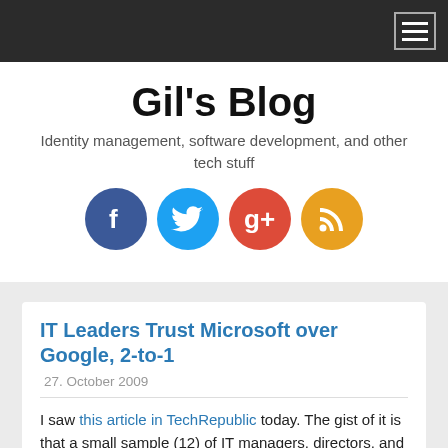Navigation bar with hamburger menu
Gil's Blog
Identity management, software development, and other tech stuff
[Figure (illustration): Four social media circular icons: Facebook (blue), Twitter (light blue), Google+ (red), RSS (orange)]
IT Leaders Trust Microsoft over Google, 2-to-1
27. October 2009
I saw this article in TechRepublic today. The gist of it is that a small sample (12) of IT managers, directors, and CIOs said